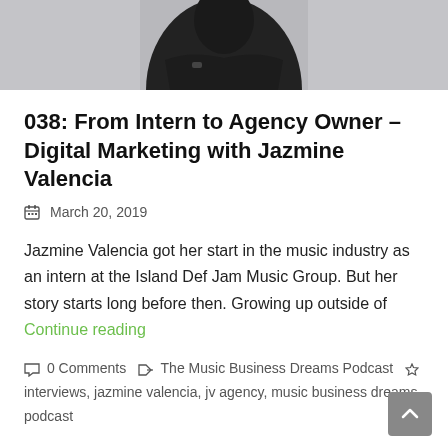[Figure (photo): Person in black outfit with arms crossed, partial upper body visible against light background]
038: From Intern to Agency Owner – Digital Marketing with Jazmine Valencia
March 20, 2019
Jazmine Valencia got her start in the music industry as an intern at the Island Def Jam Music Group. But her story starts long before then. Growing up outside of Continue reading
0 Comments   The Music Business Dreams Podcast   interviews, jazmine valencia, jv agency, music business dreams, podcast